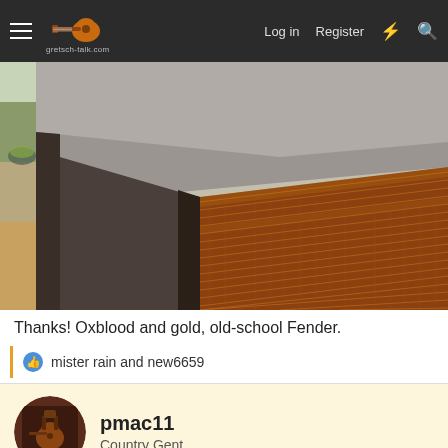gretsch-talk.com | Log in | Register
[Figure (photo): Close-up photo of a speaker cabinet corner showing gray/charcoal top and sides with oxblood and gold tweed/woven fabric grille, vintage Fender style, with a window and furniture visible in background]
Thanks! Oxblood and gold, old-school Fender.
mister rain and new6659
pmac11
Country Gent